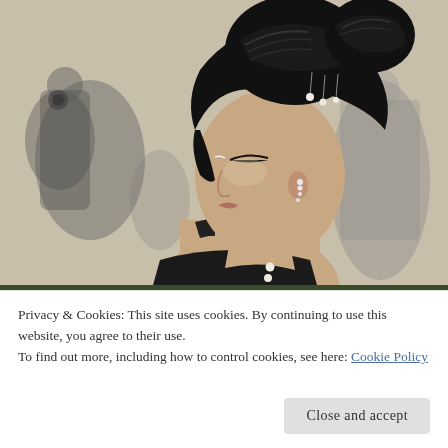[Figure (photo): A woman with an elaborate upswept braided bun hairstyle shown in profile view, wearing a black choker and backless dress with pearl details. Background shows blurred photographers and attendees at what appears to be a formal event.]
Privacy & Cookies: This site uses cookies. By continuing to use this website, you agree to their use.
To find out more, including how to control cookies, see here: Cookie Policy